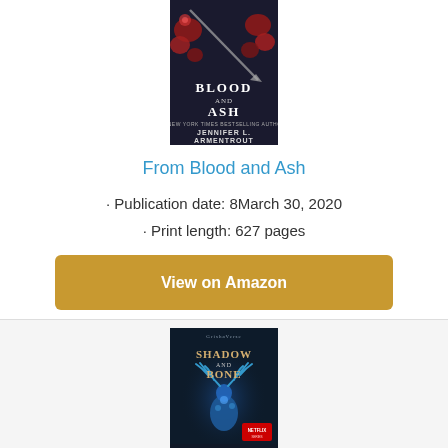[Figure (illustration): Book cover for 'From Blood and Ash' by Jennifer L. Armentrout — dark background with red flowers and a spear/arrow, text reads BLOOD AND ASH and JENNIFER L. ARMENTROUT]
From Blood and Ash
· Publication date: 8March 30, 2020
· Print length: 627 pages
View on Amazon
[Figure (illustration): Book cover for 'Shadow and Bone' (Grisha Verse) — dark blue/navy background with glowing antler stag illustration, title text in gold/cream, Netflix series label badge, author name at bottom]